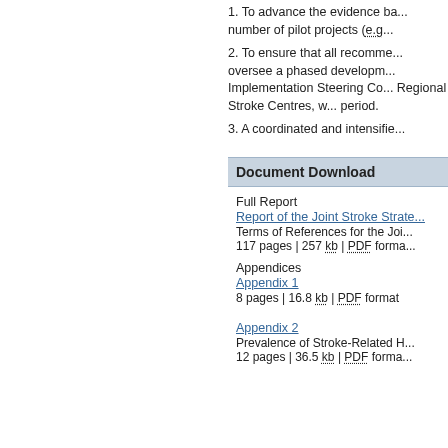1. To advance the evidence ba... number of pilot projects (e.g...
2. To ensure that all recomme... oversee a phased developm... Implementation Steering Co... Regional Stroke Centres, w... period.
3. A coordinated and intensifie...
Document Download
Full Report
Report of the Joint Stroke Strate...
Terms of References for the Joi...
117 pages | 257 kb | PDF forma...
Appendices
Appendix 1
8 pages | 16.8 kb | PDF format
Appendix 2
Prevalence of Stroke-Related H...
12 pages | 36.5 kb | PDF forma...